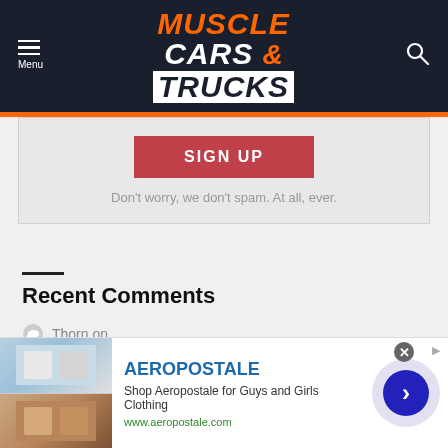Muscle Cars & Trucks
SIGN UP
Don't worry, we don't spam. At all, ever.
Recent Comments
Thorn on DODGE CHARGER DAYTONA BANSHEE POWERTRAIN: FIRST DETAILS
[Figure (screenshot): Aeropostale advertisement banner with clothing images, brand name, description, and navigation arrow]